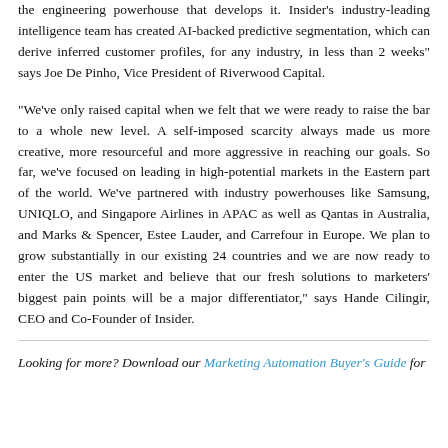the engineering powerhouse that develops it. Insider's industry-leading intelligence team has created AI-backed predictive segmentation, which can derive inferred customer profiles, for any industry, in less than 2 weeks" says Joe De Pinho, Vice President of Riverwood Capital.
“We’ve only raised capital when we felt that we were ready to raise the bar to a whole new level. A self-imposed scarcity always made us more creative, more resourceful and more aggressive in reaching our goals. So far, we’ve focused on leading in high-potential markets in the Eastern part of the world. We’ve partnered with industry powerhouses like Samsung, UNIQLO, and Singapore Airlines in APAC as well as Qantas in Australia, and Marks & Spencer, Estee Lauder, and Carrefour in Europe. We plan to grow substantially in our existing 24 countries and we are now ready to enter the US market and believe that our fresh solutions to marketers’ biggest pain points will be a major differentiator,” says Hande Cilingir, CEO and Co-Founder of Insider.
Looking for more? Download our Marketing Automation Buyer’s Guide for